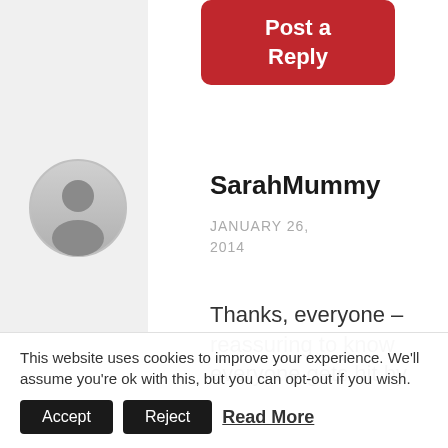[Figure (other): Red rounded rectangle button with white bold text 'Post a Reply']
[Figure (other): Gray circular user avatar icon]
SarahMummy
JANUARY 26, 2014
Thanks, everyone – reassuring to know everyone gets hit by surprises...
This website uses cookies to improve your experience. We'll assume you're ok with this, but you can opt-out if you wish.
Accept
Reject
Read More